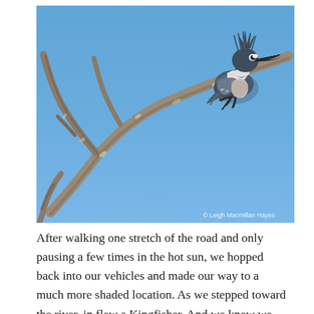[Figure (photo): A Belted Kingfisher bird with a spiky crest perched on a bare, lichen-covered branch against a clear blue sky. Photo credit: © Leigh Macmillan Hayes]
After walking one stretch of the road and only pausing a few times in the hot sun, we hopped back into our vehicles and made our way to a much more shaded location. As we stepped toward the river, in flew a Kingfisher. And we knew we were in for a treat